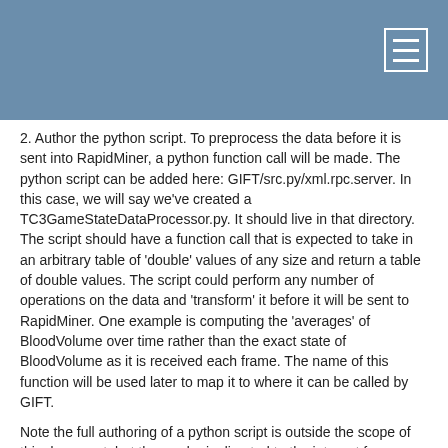2. Author the python script. To preprocess the data before it is sent into RapidMiner, a python function call will be made. The python script can be added here: GIFT/src.py/xml.rpc.server. In this case, we will say we've created a TC3GameStateDataProcessor.py. It should live in that directory. The script should have a function call that is expected to take in an arbitrary table of 'double' values of any size and return a table of double values. The script could perform any number of operations on the data and 'transform' it before it will be sent to RapidMiner. One example is computing the 'averages' of BloodVolume over time rather than the exact state of BloodVolume as it is received each frame. The name of this function will be used later to map it to where it can be called by GIFT.
Note the full authoring of a python script is outside the scope of this document, but the reader is directed to the internet for more details on authoring python script.
3. Register the python script with GIFT. The script class must be registered in the GIFT/src.py/xml.rpc.server/XmlRpcServer.py script. Add the class there as an “import” at the top of the file. An example of this is listed below:
from TC3GameStateDataProcessor import *
4. Author the RapidMiner model. Before authoring the model, make